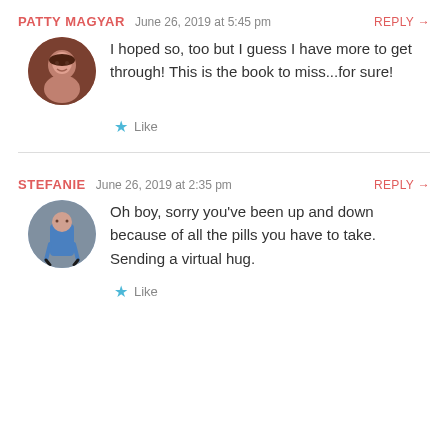PATTY MAGYAR  June 26, 2019 at 5:45 pm  REPLY →
I hoped so, too but I guess I have more to get through! This is the book to miss...for sure!
★ Like
STEFANIE  June 26, 2019 at 2:35 pm  REPLY →
Oh boy, sorry you've been up and down because of all the pills you have to take. Sending a virtual hug.
★ Like